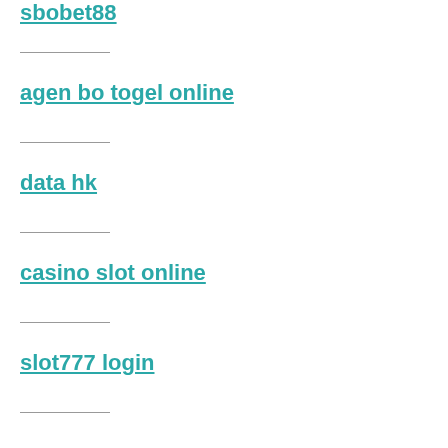sbobet88
agen bo togel online
data hk
casino slot online
slot777 login